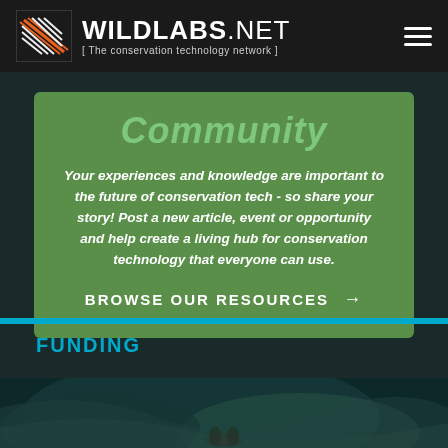WILDLABS.NET [ The conservation technology network ]
Community
Your experiences and knowledge are important to the future of conservation tech - so share your story! Post a new article, event or opportunity and help create a living hub for conservation technology that everyone can use.
BROWSE OUR RESOURCES →
FUNDING
[Figure (photo): Underwater/aquatic nature photograph with teal swirling colors, appears to show marine wildlife]